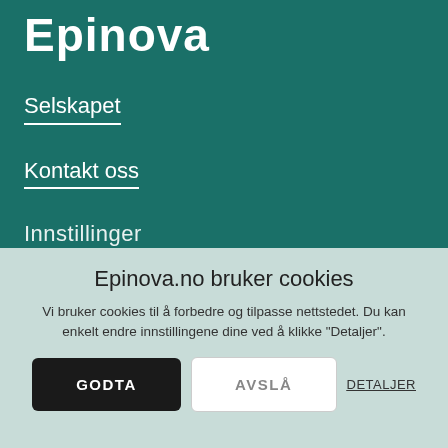Epinova
Selskapet
Kontakt oss
Epinova.no bruker cookies
Vi bruker cookies til å forbedre og tilpasse nettstedet. Du kan enkelt endre innstillingene dine ved å klikke "Detaljer".
GODTA
AVSLÅ
DETALJER